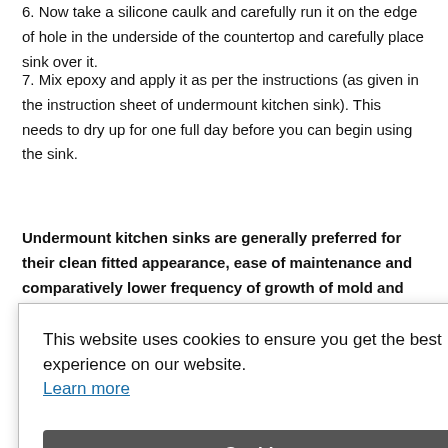6. Now take a silicone caulk and carefully run it on the edge of hole in the underside of the countertop and carefully place sink over it.
7. Mix epoxy and apply it as per the instructions (as given in the instruction sheet of undermount kitchen sink). This needs to dry up for one full day before you can begin using the sink.
Undermount kitchen sinks are generally preferred for their clean fitted appearance, ease of maintenance and comparatively lower frequency of growth of mold and residue accumulation. Not only are they in demand for the functionality they offer but also for the value they add to the overall decor of [obscured] requirement [obscured] gle or [obscured] rmount
This website uses cookies to ensure you get the best experience on our website. Learn more [Got it! button]
[obscured] first. So select an undermount kitchen sink that not only suits your daily